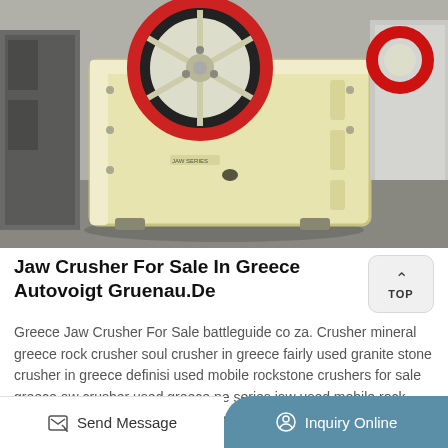[Figure (photo): A large yellow jaw crusher machine photographed in an industrial setting. The machine has a prominent red and black flywheel on top and a heavy cast-iron body. The background shows a grey concrete floor and industrial equipment.]
Jaw Crusher For Sale In Greece Autovoigt Gruenau.De
Greece Jaw Crusher For Sale battleguide co za. Crusher mineral greece rock crusher soul crusher in greece fairly used granite stone crusher in greece definisi used mobile rockstone crushers for sale greece aw crusher used greece pe series jaw used mobile rock crusher in greece xsm is a leading global manufacturer of crushing
Send Message   Inquiry Online